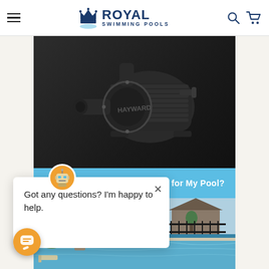Royal Swimming Pools
[Figure (photo): Close-up photo of a dark grey/black Hayward brand pool pump motor against a dark background]
Get for My Pool?
[Figure (infographic): Chat bot popup with robot icon. Text: Got any questions? I'm happy to help.]
[Figure (photo): Outdoor swimming pool with slide, surrounded by landscaping, fence, and a house in the background]